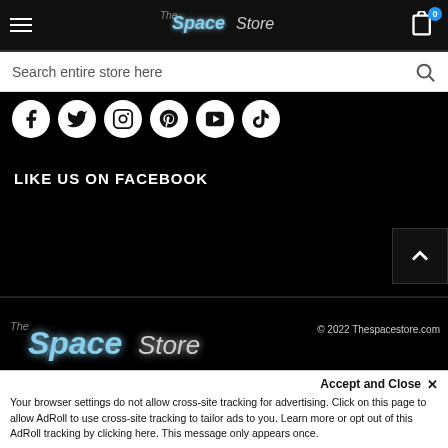The Space Store - header with hamburger menu, logo, and cart icon
Search entire store here
[Figure (illustration): Social media icon circles: Facebook, Twitter, Instagram, Pinterest, YouTube, TikTok]
LIKE US ON FACEBOOK
[Figure (illustration): Back to top button with upward arrow]
[Figure (logo): The Space Store logo with glowing effect in footer]
© 2022 Thespacestore.com
All Rights Reserved
Accept and Close ✕
Your browser settings do not allow cross-site tracking for advertising. Click on this page to allow AdRoll to use cross-site tracking to tailor ads to you. Learn more or opt out of this AdRoll tracking by clicking here. This message only appears once.